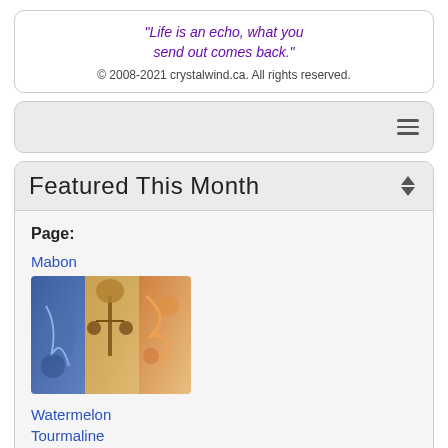"Life is an echo, what you send out comes back."
© 2008-2021 crystalwind.ca. All rights reserved.
Featured This Month
Page:
Mabon
[Figure (illustration): Artistic illustration related to Mabon seasonal theme]
Watermelon Tourmaline
[Figure (photo): Photo of Watermelon Tourmaline gemstone in diamond-shaped gold frame]